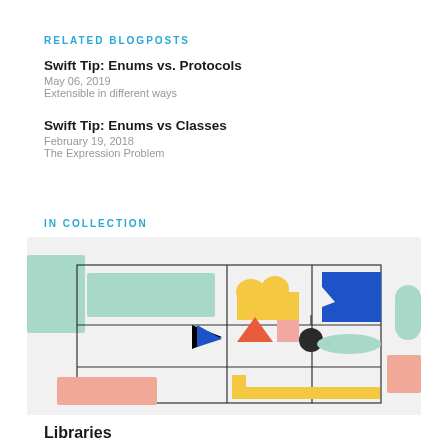RELATED BLOGPOSTS
Swift Tip: Enums vs. Protocols
May 06, 2019
Extensible in different ways
Swift Tip: Enums vs Classes
February 19, 2018
The Expression Problem
IN COLLECTION
[Figure (illustration): Abstract geometric illustration showing a grid of colored shapes including mint green rectangles, yellow arch shapes, blue polygon, blue arrow, orange triangle, pink square, dark circle, green oval, salmon rectangle, and yellow shelf/L-shape. Used as a collection thumbnail.]
Libraries
5 Episodes · 1:55 min